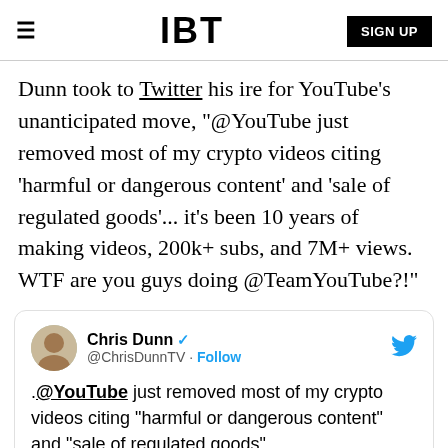IBT | SIGN UP
Dunn took to Twitter his ire for YouTube's unanticipated move, "@YouTube just removed most of my crypto videos citing 'harmful or dangerous content' and 'sale of regulated goods'... it's been 10 years of making videos, 200k+ subs, and 7M+ views. WTF are you guys doing @TeamYouTube?!"
[Figure (screenshot): Embedded tweet from Chris Dunn (@ChrisDunnTV) with verified badge and Follow button. Tweet text: .@YouTube just removed most of my crypto videos citing "harmful or dangerous content" and "sale of regulated goods"...]